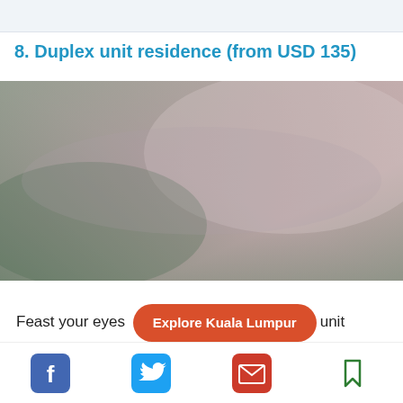8. Duplex unit residence (from USD 135)
[Figure (photo): Blurred interior or exterior photo of a duplex unit residence, showing muted green, grey, and pink tones.]
Feast your eyes [Explore Kuala Lumpur] unit residence which consists of two floors and four bedrooms. The furnis[hing of the rooms are modern and well-appointed, mo]dern. All es[tates are rated as five-]star
Social sharing bar with Facebook, Twitter, Email, and Bookmark icons